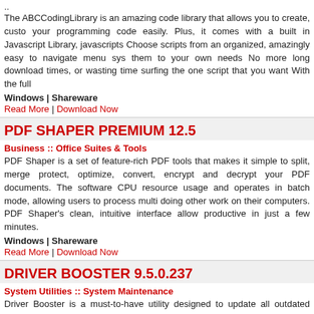..
The ABCCodingLibrary is an amazing code library that allows you to create, customize your programming code easily. Plus, it comes with a built in Javascript Library, javascripts Choose scripts from an organized, amazingly easy to navigate menu system them to your own needs No more long download times, or wasting time surfing the one script that you want With the full
Windows | Shareware
Read More | Download Now
PDF SHAPER PREMIUM 12.5
Business :: Office Suites & Tools
PDF Shaper is a set of feature-rich PDF tools that makes it simple to split, merge protect, optimize, convert, encrypt and decrypt your PDF documents. The software CPU resource usage and operates in batch mode, allowing users to process multi doing other work on their computers. PDF Shaper's clean, intuitive interface allow productive in just a few minutes.
Windows | Shareware
Read More | Download Now
DRIVER BOOSTER 9.5.0.237
System Utilities :: System Maintenance
Driver Booster is a must-to-have utility designed to update all outdated drivers on W know, those obsolete drivers may adversely affect the PC performance and e crashes. Developed by IObit, Driver Booster provides the best one-click solution to m update outdated drivers, install missing drivers, and fix incorrect drivers.